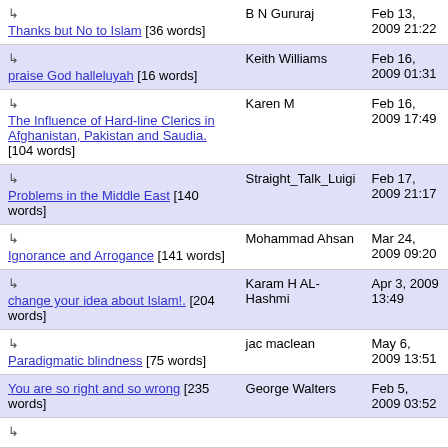| Title | Author | Date |
| --- | --- | --- |
| ↳ Thanks but No to Islam [36 words] | B N Gururaj | Feb 13, 2009 21:22 |
| ↳ praise God halleluyah [16 words] | Keith Williams | Feb 16, 2009 01:31 |
| ↳ The Influence of Hard-line Clerics in Afghanistan, Pakistan and Saudia. [104 words] | Karen M | Feb 16, 2009 17:49 |
| ↳ Problems in the Middle East [140 words] | Straight_Talk_Luigi | Feb 17, 2009 21:17 |
| ↳ Ignorance and Arrogance [141 words] | Mohammad Ahsan | Mar 24, 2009 09:20 |
| ↳ change your idea about Islam!. [204 words] | Karam H AL-Hashmi | Apr 3, 2009 13:49 |
| ↳ Paradigmatic blindness [75 words] | jac maclean | May 6, 2009 13:51 |
| You are so right and so wrong [235 words] | George Walters | Feb 5, 2009 03:52 |